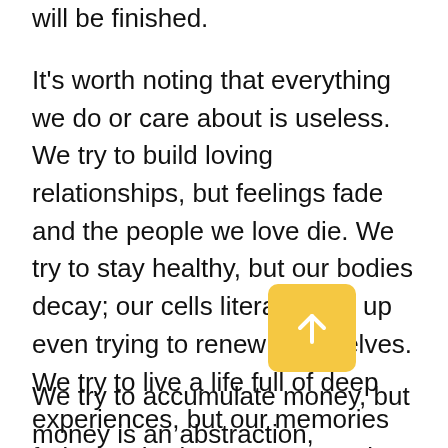will be finished.
It's worth noting that everything we do or care about is useless. We try to build loving relationships, but feelings fade and the people we love die. We try to stay healthy, but our bodies decay; our cells literally give up even trying to renew themselves. We try to live a life full of deep experiences, but our memories fade, our brain stops connecting with itself, all our values and principles recede into the we become babbling animals and soon at, dead ones.
We try to accumulate money, but money is an abstraction, imaginary credit. People in the future